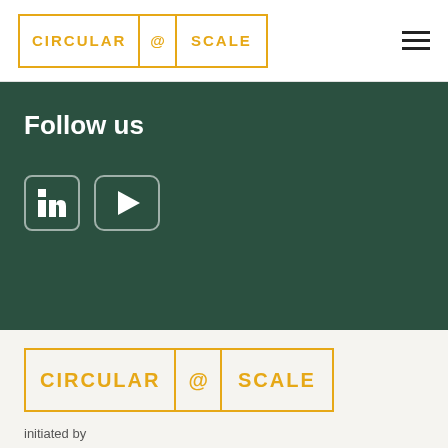CIRCULAR @ SCALE
Follow us
[Figure (logo): LinkedIn icon and YouTube icon as social media follow buttons]
[Figure (logo): CIRCULAR @ SCALE logo in large format with gold text and border]
initiated by
[Figure (logo): Partial plus/cross logo mark at bottom of page]